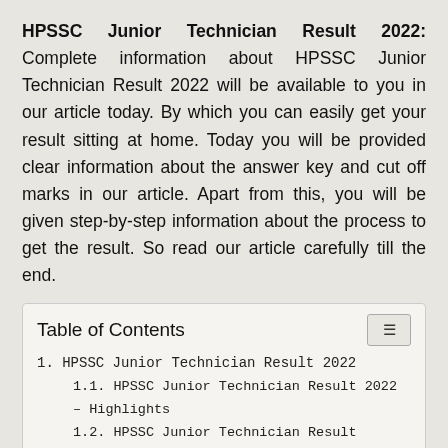HPSSC Junior Technician Result 2022: Complete information about HPSSC Junior Technician Result 2022 will be available to you in our article today. By which you can easily get your result sitting at home. Today you will be provided clear information about the answer key and cut off marks in our article. Apart from this, you will be given step-by-step information about the process to get the result. So read our article carefully till the end.
Table of Contents
1. HPSSC Junior Technician Result 2022
1.1. HPSSC Junior Technician Result 2022 – Highlights
1.2. HPSSC Junior Technician Result Release Date 2022
1.3. HPSSC Junior Technician Answer Key 2022
1.4. HPSSC Junior Technician Cut Off Marks 2022